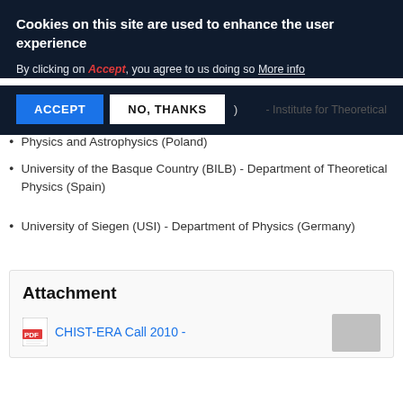Cookies on this site are used to enhance the user experience
By clicking on Accept, you agree to us doing so More info
ACCEPT   NO, THANKS
- Institute for Theoretical Physics and Astrophysics (Poland)
University of the Basque Country (BILB) - Department of Theoretical Physics (Spain)
University of Siegen (USI) - Department of Physics (Germany)
Attachment
CHIST-ERA Call 2010 -